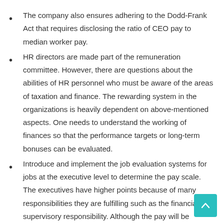The company also ensures adhering to the Dodd-Frank Act that requires disclosing the ratio of CEO pay to median worker pay.
HR directors are made part of the remuneration committee. However, there are questions about the abilities of HR personnel who must be aware of the areas of taxation and finance. The rewarding system in the organizations is heavily dependent on above-mentioned aspects. One needs to understand the working of finances so that the performance targets or long-term bonuses can be evaluated.
Introduce and implement the job evaluation systems for jobs at the executive level to determine the pay scale. The executives have higher points because of many responsibilities they are fulfilling such as the financial a… supervisory responsibility. Although the pay will be noticeable